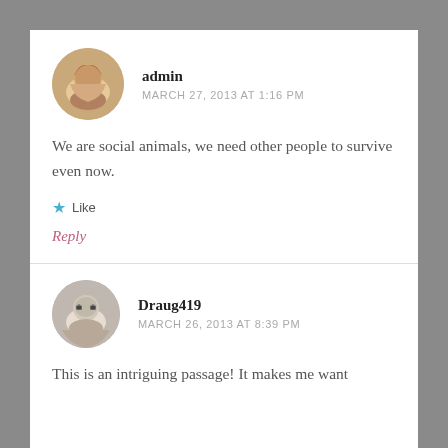[Figure (photo): Circular avatar photo of admin user, a woman with reddish hair]
admin
MARCH 27, 2013 AT 1:16 PM
We are social animals, we need other people to survive even now.
Like
Reply
[Figure (photo): Circular avatar photo of Draug419, a man with glasses]
Draug419
MARCH 26, 2013 AT 8:39 PM
This is an intriguing passage! It makes me want